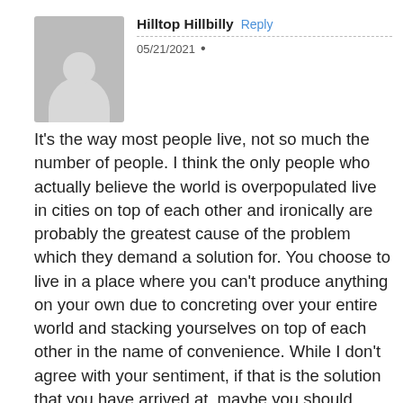[Figure (photo): Gray avatar placeholder image showing a generic person silhouette (head and shoulders) on a gray background]
Hilltop Hillbilly
Reply
05/21/2021 •
It's the way most people live, not so much the number of people. I think the only people who actually believe the world is overpopulated live in cities on top of each other and ironically are probably the greatest cause of the problem which they demand a solution for. You choose to live in a place where you can't produce anything on your own due to concreting over your entire world and stacking yourselves on top of each other in the name of convenience. While I don't agree with your sentiment, if that is the solution that you have arrived at, maybe you should consider whether or not you're worthy of being here on